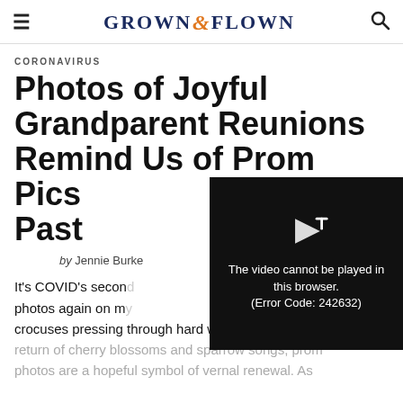GROWN & FLOWN
CORONAVIRUS
Photos of Joyful Grandparent Reunions Remind Us of Prom Pics Past
by Jennie Burke
[Figure (screenshot): Video player overlay showing error message: The video cannot be played in this browser. (Error Code: 242632)]
It's COVID's secon... photos again on m... crocuses pressing through hard winter mulch, or the return of cherry blossoms and sparrow songs, prom photos are a hopeful symbol of vernal renewal. As